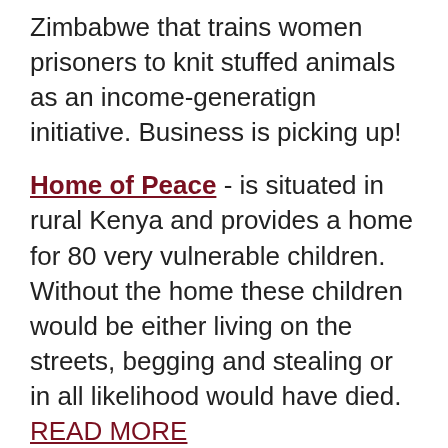Zimbabwe that trains women prisoners to knit stuffed animals as an income-generatign initiative. Business is picking up!
Home of Peace - is situated in rural Kenya and provides a home for 80 very vulnerable children. Without the home these children would be either living on the streets, begging and stealing or in all likelihood would have died. READ MORE
Hope of Glory - Peggy told our Global Nomad about how she came to start